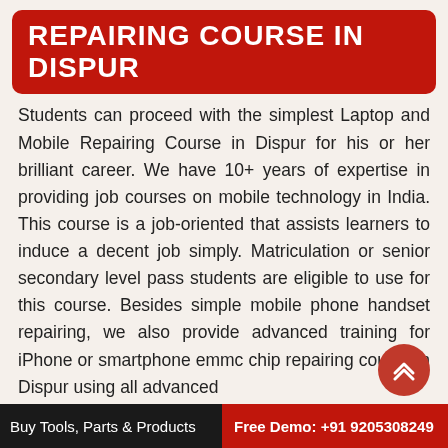REPAIRING COURSE IN DISPUR
Students can proceed with the simplest Laptop and Mobile Repairing Course in Dispur for his or her brilliant career. We have 10+ years of expertise in providing job courses on mobile technology in India. This course is a job-oriented that assists learners to induce a decent job simply. Matriculation or senior secondary level pass students are eligible to use for this course. Besides simple mobile phone handset repairing, we also provide advanced training for iPhone or smartphone emmc chip repairing course in Dispur using all advanced
Buy Tools, Parts & Products   Free Demo: +91 9205308249